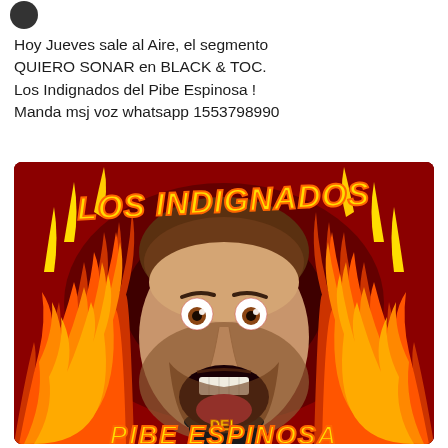Hoy Jueves sale al Aire, el segmento QUIERO SONAR en BLACK & TOC. Los Indignados del Pibe Espinosa ! Manda msj voz whatsapp 1553798990
[Figure (illustration): Promotional poster for 'Los Indignados del Pibe Espinosa' showing a screaming man's face surrounded by flames on a dark red background. Yellow grunge-style text reads 'LOS INDIGNADOS' at the top and 'DEL PIBE ESPINOSA' at the bottom.]